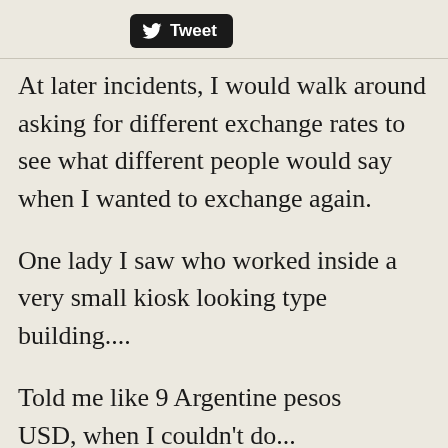[Figure (other): Twitter Tweet button with bird logo on black rounded rectangle background]
At later incidents, I would walk around asking for different exchange rates to see what different people would say when I wanted to exchange again.
One lady I saw who worked inside a very small kiosk looking type building....
Told me like 9 Argentine pesos USD, when I couldn't do...